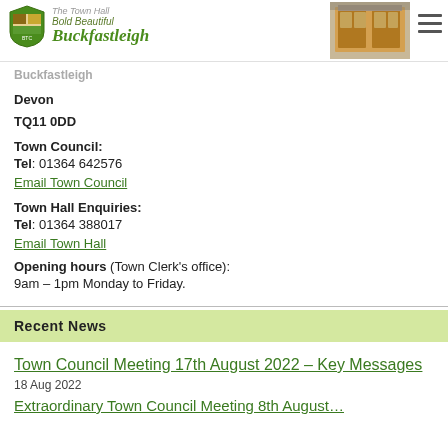The Town Hall — Bold Beautiful Buckfastleigh
[Figure (photo): Town Hall wooden doors photo in header]
Buckfastleigh
Devon
TQ11 0DD
Town Council:
Tel: 01364 642576
Email Town Council
Town Hall Enquiries:
Tel: 01364 388017
Email Town Hall
Opening hours (Town Clerk's office):
9am – 1pm Monday to Friday.
Recent News
Town Council Meeting 17th August 2022 – Key Messages
18 Aug 2022
Extraordinary Town Council Meeting 8th August…